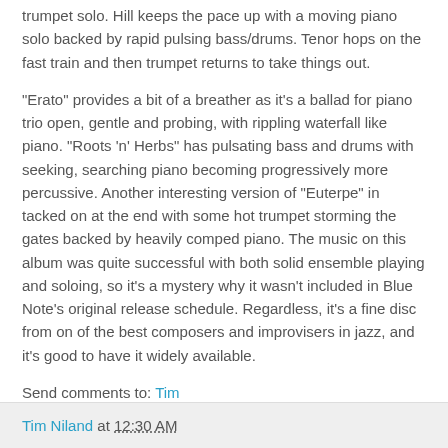trumpet solo. Hill keeps the pace up with a moving piano solo backed by rapid pulsing bass/drums. Tenor hops on the fast train and then trumpet returns to take things out.
"Erato" provides a bit of a breather as it's a ballad for piano trio open, gentle and probing, with rippling waterfall like piano. "Roots 'n' Herbs" has pulsating bass and drums with seeking, searching piano becoming progressively more percussive. Another interesting version of "Euterpe" in tacked on at the end with some hot trumpet storming the gates backed by heavily comped piano. The music on this album was quite successful with both solid ensemble playing and soloing, so it's a mystery why it wasn't included in Blue Note's original release schedule. Regardless, it's a fine disc from on of the best composers and improvisers in jazz, and it's good to have it widely available.
Send comments to: Tim
Tim Niland at 12:30 AM